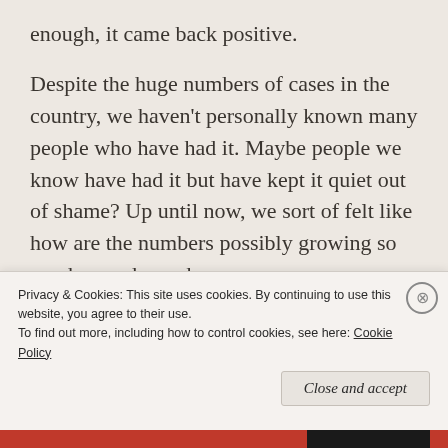enough, it came back positive.
Despite the huge numbers of cases in the country, we haven't personally known many people who have had it. Maybe people we know have had it but have kept it quiet out of shame? Up until now, we sort of felt like how are the numbers possibly growing so much – we know how
Privacy & Cookies: This site uses cookies. By continuing to use this website, you agree to their use.
To find out more, including how to control cookies, see here: Cookie Policy
Close and accept